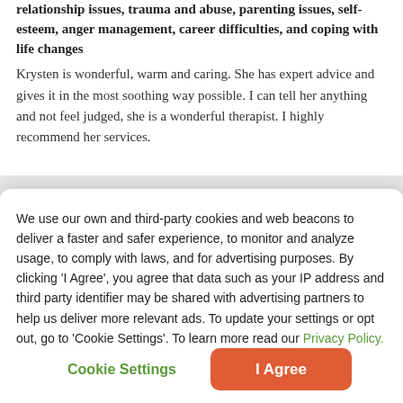relationship issues, trauma and abuse, parenting issues, self-esteem, anger management, career difficulties, and coping with life changes
Krysten is wonderful, warm and caring. She has expert advice and gives it in the most soothing way possible. I can tell her anything and not feel judged, she is a wonderful therapist. I highly recommend her services.
We use our own and third-party cookies and web beacons to deliver a faster and safer experience, to monitor and analyze usage, to comply with laws, and for advertising purposes. By clicking 'I Agree', you agree that data such as your IP address and third party identifier may be shared with advertising partners to help us deliver more relevant ads. To update your settings or opt out, go to 'Cookie Settings'. To learn more read our Privacy Policy.
Cookie Settings
I Agree